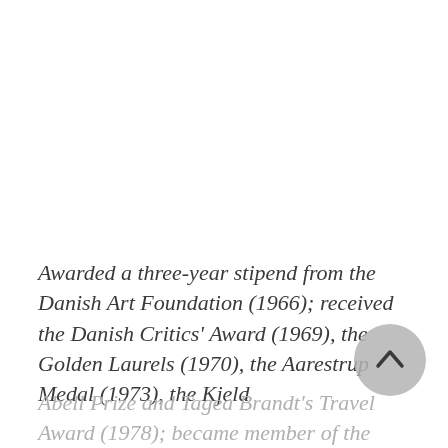Awarded a three-year stipend from the Danish Art Foundation (1966); received the Danish Critics' Award (1969), the Golden Laurels (1970), the Aarestrup Medal (1973), the Kjeld
Abell Prize and Tagea Brandt's Travel Award (1978); became member of the